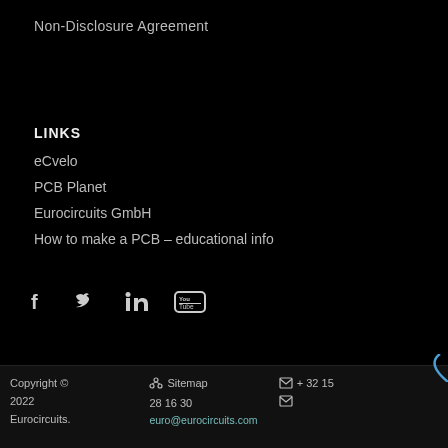Non-Disclosure Agreement
LINKS
eCvelo
PCB Planet
Eurocircuits GmbH
How to make a PCB – educational info
[Figure (illustration): Social media icons: Facebook, Twitter, LinkedIn, YouTube]
Copyright © 2022 Eurocircuits.   Sitemap   + 32 15 28 16 30   euro@eurocircuits.com